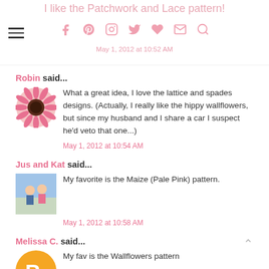I like the Patchwork and Lace pattern!
May 1, 2012 at 10:52 AM
Robin said...
What a great idea, I love the lattice and spades designs. (Actually, I really like the hippy wallflowers, but since my husband and I share a car I suspect he'd veto that one...)
May 1, 2012 at 10:54 AM
Jus and Kat said...
My favorite is the Maize (Pale Pink) pattern.
May 1, 2012 at 10:58 AM
Melissa C. said...
My fav is the Wallflowers pattern